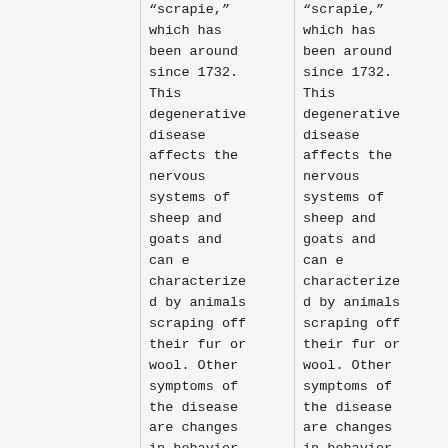“scrapie,” which has been around since 1732. This degenerative disease affects the nervous systems of sheep and goats and can e characterized by animals scraping off their fur or wool. Other symptoms of the disease are changes in behavior,
“scrapie,” which has been around since 1732. This degenerative disease affects the nervous systems of sheep and goats and can e characterized by animals scraping off their fur or wool. Other symptoms of the disease are changes in behavior,